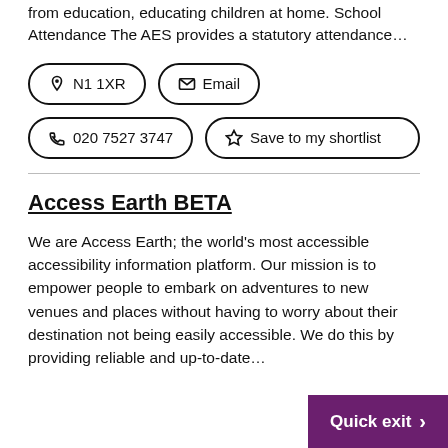from education, educating children at home. School Attendance The AES provides a statutory attendance…
N1 1XR
Email
020 7527 3747
Save to my shortlist
Access Earth BETA
We are Access Earth; the world's most accessible accessibility information platform. Our mission is to empower people to embark on adventures to new venues and places without having to worry about their destination not being easily accessible. We do this by providing reliable and up-to-date…
Quick exit >